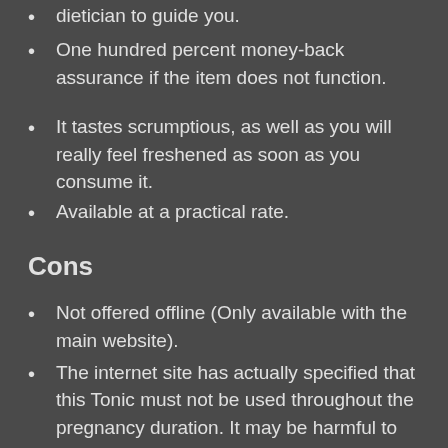dietician to guide you.
One hundred percent money-back assurance if the item does not function.
It tastes scrumptious, as well as you will really feel freshened as soon as you consume it.
Available at a practical rate.
Cons
Not offered offline (Only available with the main website).
The internet site has actually specified that this Tonic must not be used throughout the pregnancy duration. It may be harmful to the child.